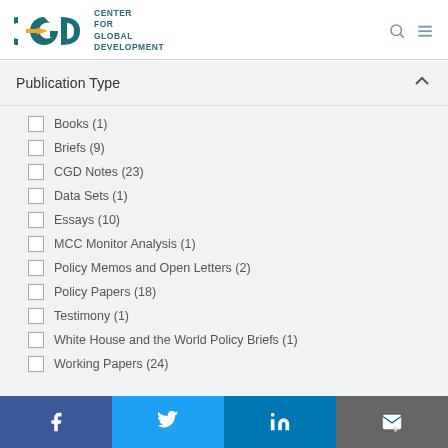[Figure (logo): CGD Center for Global Development logo with teal letters and yellow arrow]
Publication Type
Books (1)
Briefs (9)
CGD Notes (23)
Data Sets (1)
Essays (10)
MCC Monitor Analysis (1)
Policy Memos and Open Letters (2)
Policy Papers (18)
Testimony (1)
White House and the World Policy Briefs (1)
Working Papers (24)
Facebook | Twitter | LinkedIn | Email